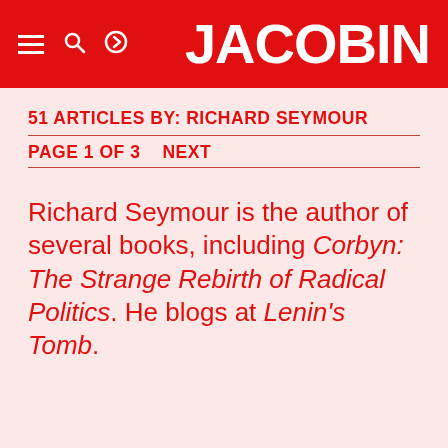JACOBIN
51 ARTICLES BY: RICHARD SEYMOUR
PAGE 1 OF 3    NEXT
Richard Seymour is the author of several books, including Corbyn: The Strange Rebirth of Radical Politics. He blogs at Lenin’s Tomb.